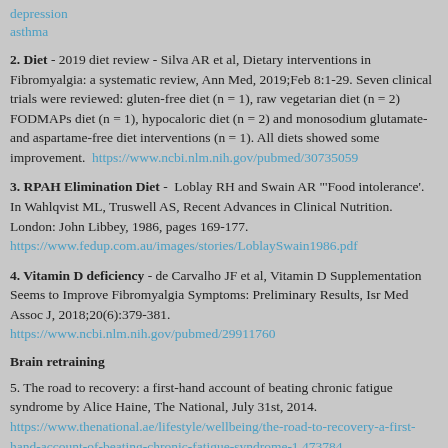depression
asthma
2. Diet - 2019 diet review - Silva AR et al, Dietary interventions in Fibromyalgia: a systematic review, Ann Med, 2019;Feb 8:1-29. Seven clinical trials were reviewed: gluten-free diet (n = 1), raw vegetarian diet (n = 2) FODMAPs diet (n = 1), hypocaloric diet (n = 2) and monosodium glutamate- and aspartame-free diet interventions (n = 1). All diets showed some improvement. https://www.ncbi.nlm.nih.gov/pubmed/30735059
3. RPAH Elimination Diet - Loblay RH and Swain AR "'Food intolerance'. In Wahlqvist ML, Truswell AS, Recent Advances in Clinical Nutrition. London: John Libbey, 1986, pages 169-177. https://www.fedup.com.au/images/stories/LoblaySwain1986.pdf
4. Vitamin D deficiency - de Carvalho JF et al, Vitamin D Supplementation Seems to Improve Fibromyalgia Symptoms: Preliminary Results, Isr Med Assoc J, 2018;20(6):379-381. https://www.ncbi.nlm.nih.gov/pubmed/29911760
Brain retraining
5. The road to recovery: a first-hand account of beating chronic fatigue syndrome by Alice Haine, The National, July 31st, 2014. https://www.thenational.ae/lifestyle/wellbeing/the-road-to-recovery-a-first-hand-account-of-beating-chronic-fatigue-syndrome-1.473784